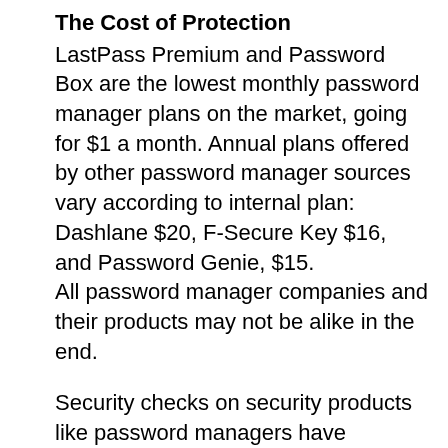The Cost of Protection
LastPass Premium and Password Box are the lowest monthly password manager plans on the market, going for $1 a month. Annual plans offered by other password manager sources vary according to internal plan: Dashlane $20, F-Secure Key $16, and Password Genie, $15.
All password manager companies and their products may not be alike in the end.
Security checks on security products like password managers have become more sophisticated in response to product cross-portability and open source app interface volatility. Norton, RoboForm, KeePass, generate strong, random passwords on-demand. Some